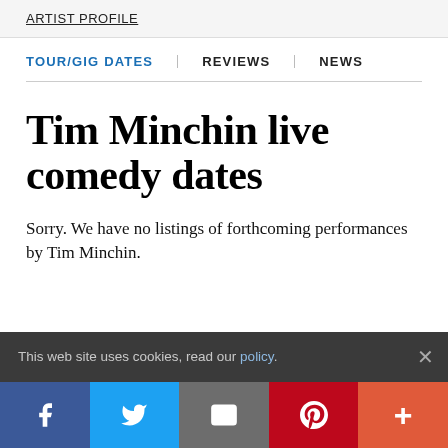ARTIST PROFILE
TOUR/GIG DATES   REVIEWS   NEWS
Tim Minchin live comedy dates
Sorry. We have no listings of forthcoming performances by Tim Minchin.
This web site uses cookies, read our policy.
Facebook Twitter Email Pinterest More